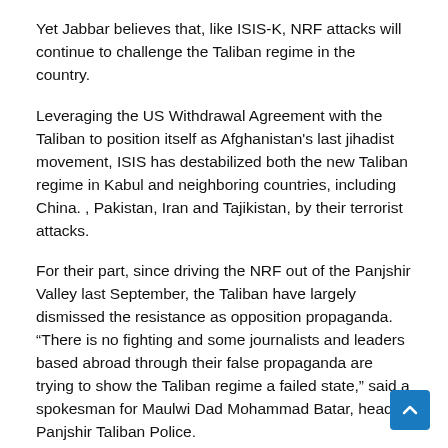Yet Jabbar believes that, like ISIS-K, NRF attacks will continue to challenge the Taliban regime in the country.
Leveraging the US Withdrawal Agreement with the Taliban to position itself as Afghanistan's last jihadist movement, ISIS has destabilized both the new Taliban regime in Kabul and neighboring countries, including China. , Pakistan, Iran and Tajikistan, by their terrorist attacks.
For their part, since driving the NRF out of the Panjshir Valley last September, the Taliban have largely dismissed the resistance as opposition propaganda. “There is no fighting and some journalists and leaders based abroad through their false propaganda are trying to show the Taliban regime a failed state,” said a spokesman for Maulwi Dad Mohammad Batar, head of Panjshir Taliban Police.
Yet the Taliban are known to have tried to reach out to the NRF to negotiate. In late January, a Taliban delegation led by acting foreign minister Aamir Khan Mutaqqi met with NRF leaders in